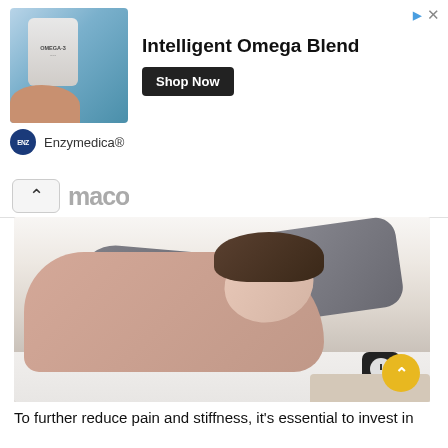[Figure (screenshot): Advertisement banner for Enzymedica Intelligent Omega Blend supplement. Shows product image on left, bold headline 'Intelligent Omega Blend', black 'Shop Now' button, Enzymedica logo and brand name below.]
[Figure (photo): A woman sleeping peacefully on a bed with gray pillows and white sheets. A small alarm clock is visible on a nightstand in the background.]
To further reduce pain and stiffness, it's essential to invest in